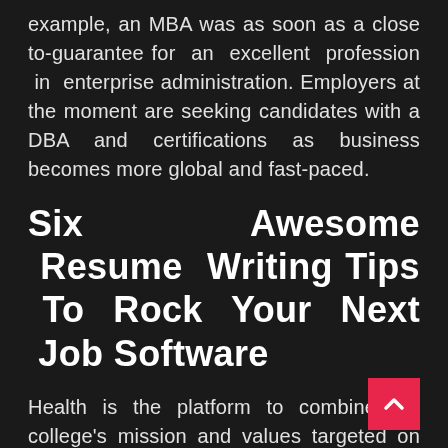example, an MBA was as soon as a close to-guarantee for an excellent profession in enterprise administration. Employers at the moment are seeking candidates with a DBA and certifications as business becomes more global and fast-paced.
Six Awesome Resume Writing Tips To Rock Your Next Job Software
Health is the platform to combine the college's mission and values targeted on figuring out and responding to the economic, social and cultural issues affecting health in Houston, Texas, and beyond. Well, Both.In the first study to validate conflicting theories, a University of Houston researcher has confirmed that the zinc really